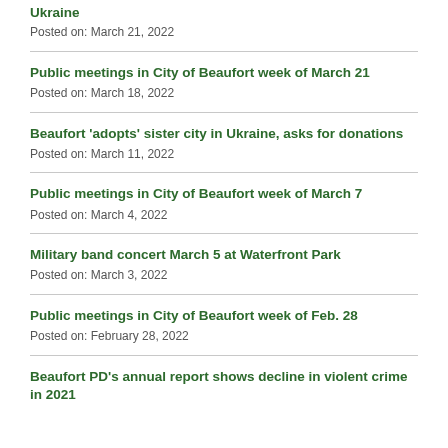Ukraine
Posted on: March 21, 2022
Public meetings in City of Beaufort week of March 21
Posted on: March 18, 2022
Beaufort 'adopts' sister city in Ukraine, asks for donations
Posted on: March 11, 2022
Public meetings in City of Beaufort week of March 7
Posted on: March 4, 2022
Military band concert March 5 at Waterfront Park
Posted on: March 3, 2022
Public meetings in City of Beaufort week of Feb. 28
Posted on: February 28, 2022
Beaufort PD's annual report shows decline in violent crime in 2021